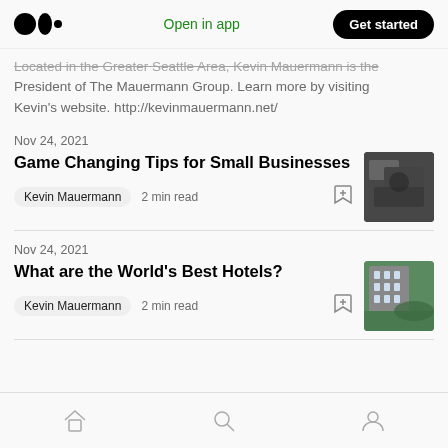Medium logo | Open in app | Get started
Located in the Greater Seattle Area, Kevin Mauermann is the President of The Mauermann Group. Learn more by visiting Kevin's website. http://kevinmauermann.net/
Nov 24, 2021
Game Changing Tips for Small Businesses
Kevin Mauermann  2 min read
[Figure (photo): Thumbnail image for Game Changing Tips for Small Businesses article — dark aerial or industrial photo]
Nov 24, 2021
What are the World's Best Hotels?
Kevin Mauermann  2 min read
[Figure (photo): Thumbnail image for What are the World's Best Hotels? article — hotel building with greenery]
Home | Search | Profile navigation icons